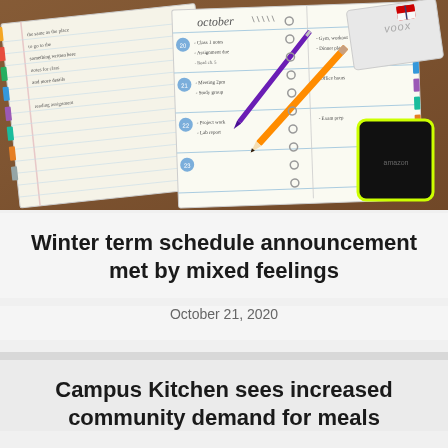[Figure (photo): Overhead photo of open spiral-bound planners showing October schedule pages with handwritten entries, an orange pencil, a purple pen, a black and yellow portable device, and a white laptop in the corner, all on a wooden surface.]
Winter term schedule announcement met by mixed feelings
October 21, 2020
Campus Kitchen sees increased community demand for meals